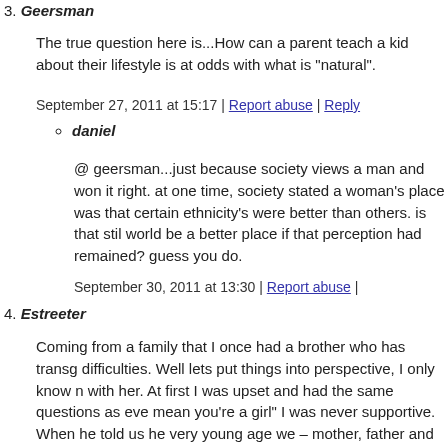3. Geersman
The true question here is...How can a parent teach a kid about their lifestyle is at odds with what is "natural".
September 27, 2011 at 15:17 | Report abuse | Reply
daniel
@ geersman...just because society views a man and won it right. at one time, society stated a woman's place was that certain ethnicity's were better than others. is that stil world be a better place if that perception had remained? guess you do.
September 30, 2011 at 13:30 | Report abuse |
4. Estreeter
Coming from a family that I once had a brother who has transg difficulties. Well lets put things into perspective, I only know n with her. At first I was upset and had the same questions as eve mean you're a girl" I was never supportive. When he told us he very young age we – mother, father and me – saw a difference that they maybe different. I don't know how to pinpoint it, but doesn't mean they are going to be a girl or boy. My brother at a more female like than male.